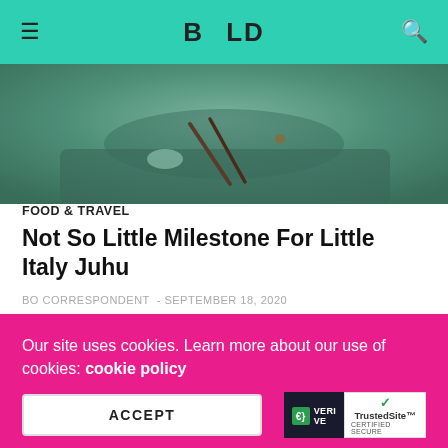BOLD
[Figure (photo): Food photo showing a plate with pasta or noodles on a teal/green background]
FOOD & TRAVEL
Not So Little Milestone For Little Italy Juhu
BO CORRESPONDENT  -  SEPTEMBER 18, 2020
Silver Jubilee for Little Italy Juhu Back to the time of bell-bottoms and big hairstyles, Mumbai had just started getting a continental zest to its tongue in the '90s. Without a doubt, the glorious Italian cuisine of pizzas and pasta...
Our site uses cookies. Learn more about our use of cookies: cookie policy
ACCEPT